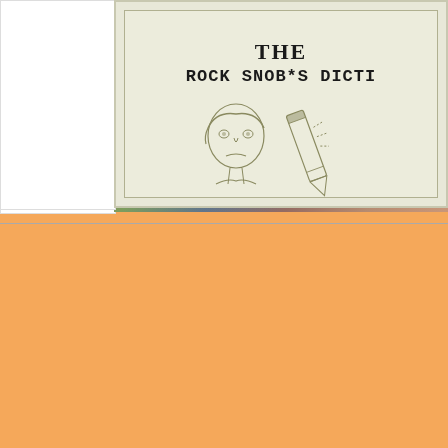[Figure (photo): Top book cover partially visible: floral garden background with text 'racehorse Man o' W' and large title 'BRIDAL DREA' in white serif italic font. White box to the left side.]
[Figure (illustration): Bottom book cover for 'THE ROCK SNOB*S DICTIONARY' on cream/beige background with inner border frame. Below title text is a pencil sketch illustration of a person's face and what appears to be a pencil/microphone.]